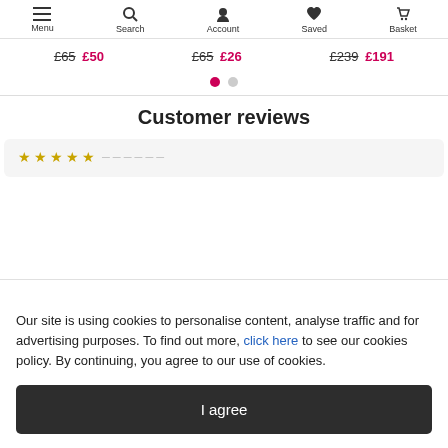Menu  Search  Account  Saved  Basket
£65 £50   £65 £26   £239 £191
Customer reviews
Our site is using cookies to personalise content, analyse traffic and for advertising purposes. To find out more, click here to see our cookies policy. By continuing, you agree to our use of cookies.
I agree